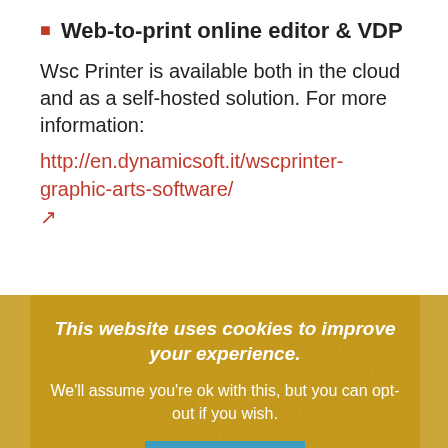Web-to-print online editor & VDP
Wsc Printer is available both in the cloud and as a self-hosted solution. For more information:
http://en.dynamicsoft.it/wscprinter-graphic-arts-software/ ↗
About Dynamicsoft Dynamicsoft has been working with Print-to-Web and e-business solutions for the Graphic Arts. Its offer includes specific products and services, as well as support for the customization, integration and Web-to-Print projects IST for the printing industry. For more information: www. dynamicsoft.it
About callas software callas software helps to handle complex PDF challenges. As a technology innovator, callas software develops and markets PDF technology for publishing,
This website uses cookies to improve your experience. We'll assume you're ok with this, but you can opt-out if you wish.
ACCEPT
Cookie settings
Read More